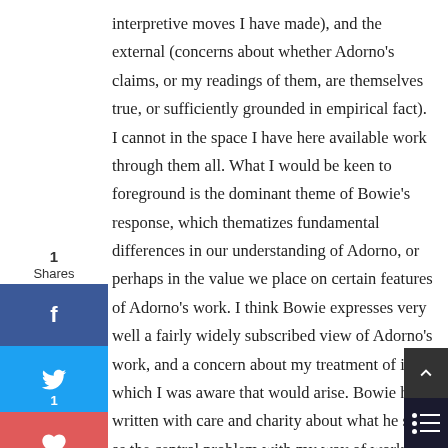interpretive moves I have made), and the external (concerns about whether Adorno's claims, or my readings of them, are themselves true, or sufficiently grounded in empirical fact). I cannot in the space I have here available work through them all. What I would be keen to foreground is the dominant theme of Bowie's response, which thematizes fundamental differences in our understanding of Adorno, or perhaps in the value we place on certain features of Adorno's work. I think Bowie expresses very well a fairly widely subscribed view of Adorno's work, and a concern about my treatment of it which I was aware that would arise. Bowie has written with care and charity about what he sees as the central problem with my way of working with Adorno's thought, and pointed out many issues of finer detail which I agree with. But I would like to start